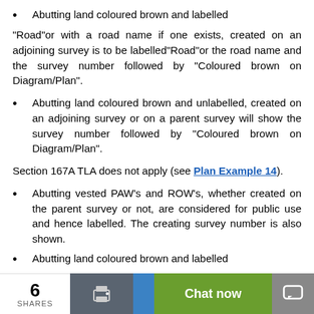Abutting land coloured brown and labelled
“Road”or with a road name if one exists, created on an adjoining survey is to be labelled“Road”or the road name and the survey number followed by “Coloured brown on Diagram/Plan”.
Abutting land coloured brown and unlabelled, created on an adjoining survey or on a parent survey will show the survey number followed by “Coloured brown on Diagram/Plan”.
Section 167A TLA does not apply (see Plan Example 14).
Abutting vested PAW’s and ROW’s, whether created on the parent survey or not, are considered for public use and hence labelled. The creating survey number is also shown.
Abutting land coloured brown and labelled